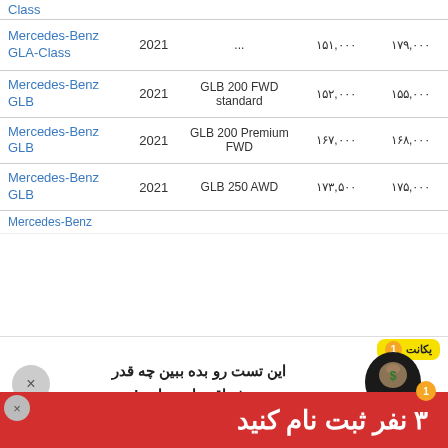| Model | Year | Trim | Price 1 | Price 2 |
| --- | --- | --- | --- | --- |
| Mercedes-Benz GLA-Class | 2021 | ... | ۱۵۱,۰۰۰ | ۱۷۹,۰۰۰ |
| Mercedes-Benz GLB | 2021 | GLB 200 FWD standard | ۱۵۲,۰۰۰ | ۱۵۵,۰۰۰ |
| Mercedes-Benz GLB | 2021 | GLB 200 Premium FWD | ۱۶۷,۰۰۰ | ۱۶۸,۰۰۰ |
| Mercedes-Benz GLB | 2021 | GLB 250 AWD | ۱۷۳,۵۰۰ | ۱۷۵,۰۰۰ |
| Mercedes-Benz |  |  |  |  |
[Figure (other): Advertisement overlay: yellow badge labeled '1 یکانت', Persian text 'این تست رو بده ببین چه قدر هوش اقتصادی داری!', silhouette of head with dollar sign money bag]
GLC 45 AMG Coupe
۳ نفر ثبت نام کنید